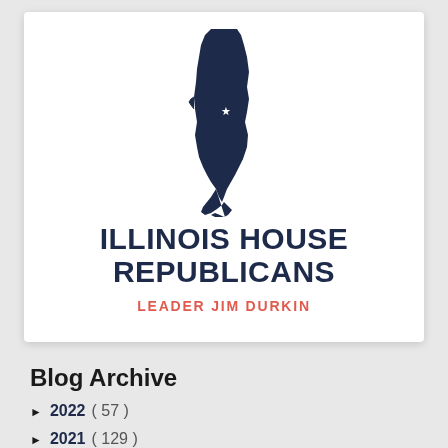[Figure (illustration): Silhouette map of Illinois state in dark navy blue with a small white star marking a city location]
ILLINOIS HOUSE REPUBLICANS
LEADER JIM DURKIN
Blog Archive
► 2022 ( 57 )
► 2021 ( 129 )
▼ 2020 ( 169 )
December ( 9 )
November ( 10 )